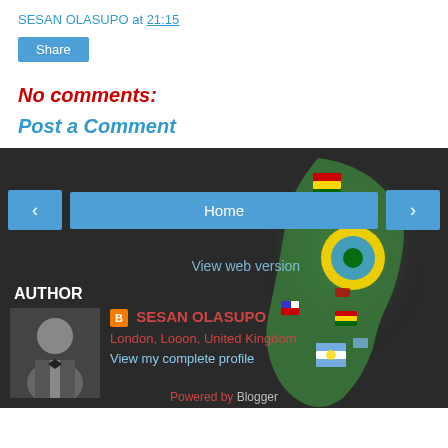SESAN OLASUPO at 21:15
Share
No comments:
Post a Comment
[Figure (map): South America map with country flags overlay, colorful]
Home
View web version
AUTHOR
[Figure (photo): Portrait of Sesan Olasupo in suit and bow tie]
SESAN OLASUPO
London, Looon, United Kingdom
View my complete profile
Powered by Blogger